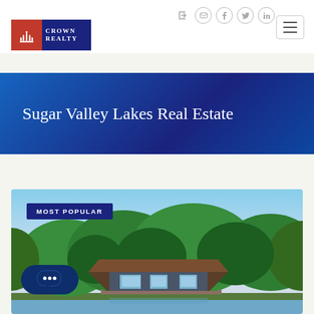[Figure (logo): Crown Realty logo — dark blue rectangle with red left panel containing a white crown icon, text reads CROWN REALTY in white]
[Figure (screenshot): Navigation icons: sign-in arrow, envelope, Facebook circle, Twitter circle, LinkedIn circle]
[Figure (other): Hamburger menu button with three horizontal lines]
Sugar Valley Lakes Real Estate
[Figure (photo): Property photo showing a lakeside building with large windows surrounded by lush green trees under a blue sky, with Most Popular badge overlay]
[Figure (other): Chat bubble button in dark blue with three dots indicating a chat/message feature]